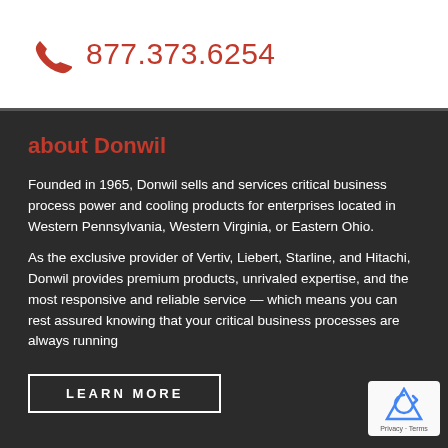[Figure (logo): Orange phone handset icon and phone number 877.373.6254 in red/orange color on white background]
about Donwil
Founded in 1965, Donwil sells and services critical business process power and cooling products for enterprises located in Western Pennsylvania, Western Virginia, or Eastern Ohio.
As the exclusive provider of Vertiv, Liebert, Starline, and Hitachi, Donwil provides premium products, unrivaled expertise, and the most responsive and reliable service — which means you can rest assured knowing that your critical business processes are always running
LEARN MORE